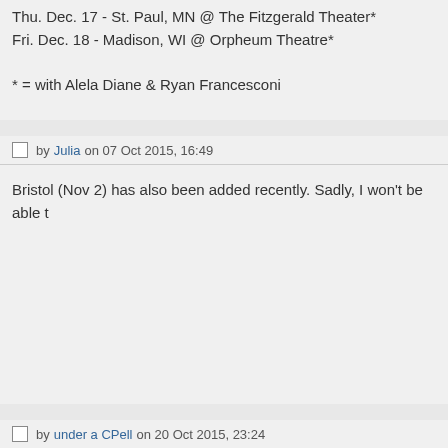Thu. Dec. 17 - St. Paul, MN @ The Fitzgerald Theater*
Fri. Dec. 18 - Madison, WI @ Orpheum Theatre*

* = with Alela Diane & Ryan Francesconi
by Julia on 07 Oct 2015, 16:49
Bristol (Nov 2) has also been added recently. Sadly, I won't be able t
by under a CPell on 20 Oct 2015, 23:24
The support act on the European leg will be Scottish folk singer Alas
The website of Tivoli in Utrecht doesn't say sold out, so it probably is
with joy-of-life